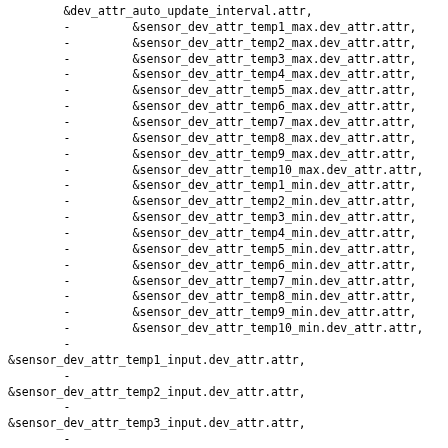&dev_attr_auto_update_interval.attr,
		- 		&sensor_dev_attr_temp1_max.dev_attr.attr,
		- 		&sensor_dev_attr_temp2_max.dev_attr.attr,
		- 		&sensor_dev_attr_temp3_max.dev_attr.attr,
		- 		&sensor_dev_attr_temp4_max.dev_attr.attr,
		- 		&sensor_dev_attr_temp5_max.dev_attr.attr,
		- 		&sensor_dev_attr_temp6_max.dev_attr.attr,
		- 		&sensor_dev_attr_temp7_max.dev_attr.attr,
		- 		&sensor_dev_attr_temp8_max.dev_attr.attr,
		- 		&sensor_dev_attr_temp9_max.dev_attr.attr,
		- 		&sensor_dev_attr_temp10_max.dev_attr.attr,
		- 		&sensor_dev_attr_temp1_min.dev_attr.attr,
		- 		&sensor_dev_attr_temp2_min.dev_attr.attr,
		- 		&sensor_dev_attr_temp3_min.dev_attr.attr,
		- 		&sensor_dev_attr_temp4_min.dev_attr.attr,
		- 		&sensor_dev_attr_temp5_min.dev_attr.attr,
		- 		&sensor_dev_attr_temp6_min.dev_attr.attr,
		- 		&sensor_dev_attr_temp7_min.dev_attr.attr,
		- 		&sensor_dev_attr_temp8_min.dev_attr.attr,
		- 		&sensor_dev_attr_temp9_min.dev_attr.attr,
		- 		&sensor_dev_attr_temp10_min.dev_attr.attr,
		-
&sensor_dev_attr_temp1_input.dev_attr.attr,
		-
&sensor_dev_attr_temp2_input.dev_attr.attr,
		-
&sensor_dev_attr_temp3_input.dev_attr.attr,
		-
&sensor_dev_attr_temp4_input.dev_attr.attr,
		-